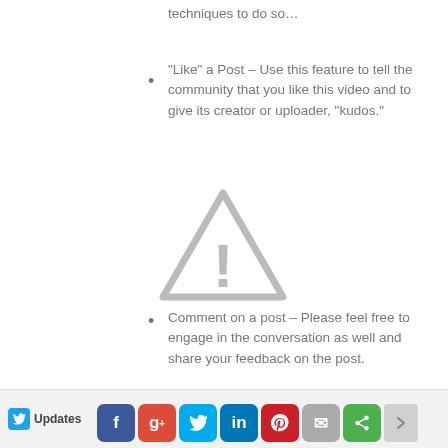techniques to do so…
“Like” a Post – Use this feature to tell the community that you like this video and to give its creator or uploader, “kudos.”
[Figure (illustration): Warning triangle icon with exclamation mark, grey color]
Comment on a post – Please feel free to engage in the conversation as well and share your feedback on the post.
Updates | Facebook | G+ | Twitter | LinkedIn | Pinterest | Mail | Share